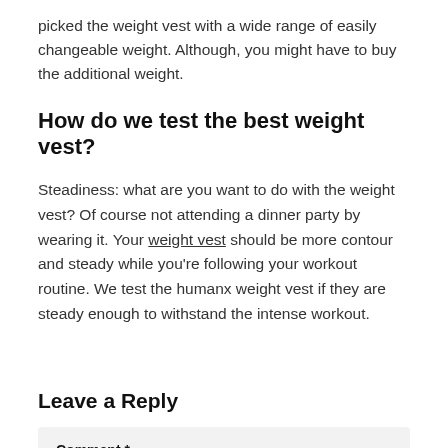picked the weight vest with a wide range of easily changeable weight. Although, you might have to buy the additional weight.
How do we test the best weight vest?
Steadiness: what are you want to do with the weight vest? Of course not attending a dinner party by wearing it. Your weight vest should be more contour and steady while you're following your workout routine. We test the humanx weight vest if they are steady enough to withstand the intense workout.
Leave a Reply
Comment *